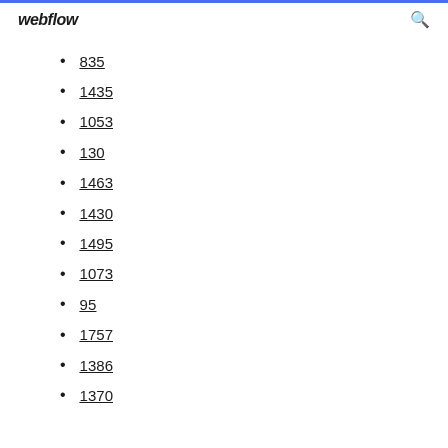webflow
835
1435
1053
130
1463
1430
1495
1073
95
1757
1386
1370